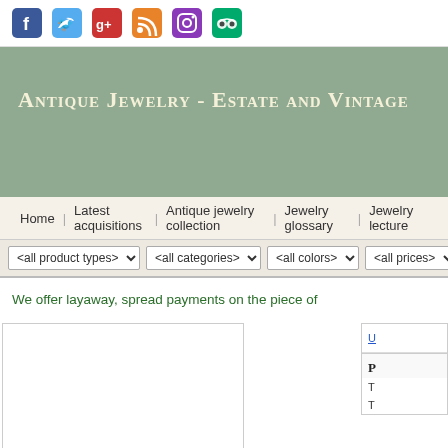[Figure (infographic): Row of 6 social media icons: Facebook (blue), Twitter (light blue), Google+ (red/green), RSS (orange), Instagram (purple/pink), TripAdvisor (green)]
Antique Jewelry - Estate and Vintage
Home  Latest acquisitions  Antique jewelry collection  Jewelry glossary  Jewelry lecture
<all product types>  <all categories>  <all colors>  <all prices>
We offer layaway, spread payments on the piece of
[Figure (photo): Product image area - white box (product photo placeholder)]
U
P
T
T